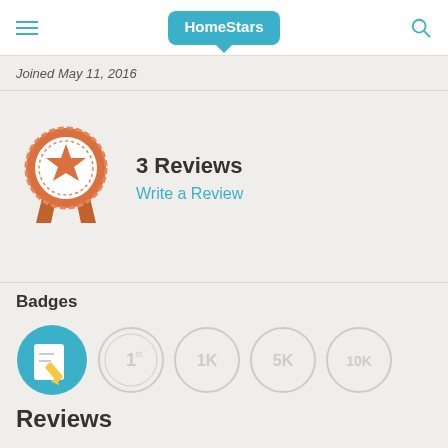HomeStars
Joined May 11, 2016
[Figure (illustration): Review medal badge icon with star and ribbon, orange/red color scheme]
3 Reviews
Write a Review
Badges
[Figure (illustration): Row of badge icons: active write-a-review badge (blue), and greyed out badges for 1st, 1K, 5K, 10K]
Reviews